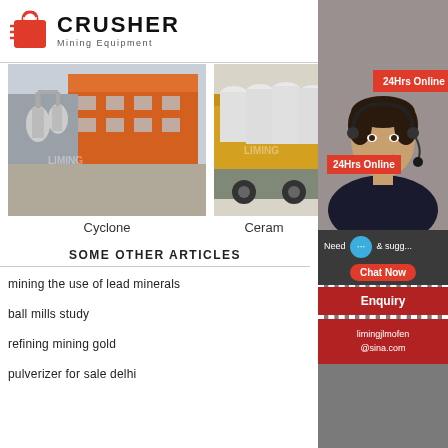[Figure (logo): Crusher Mining Equipment logo with red shopping bag icon and bold CRUSHER text]
[Figure (photo): Industrial factory building with white cyclone dust collectors and pipes]
Cyclone
[Figure (photo): Large yellow mining equipment on a truck flatbed]
Ceram
SOME OTHER ARTICLES
mining the use of lead minerals
ball mills study
refining mining gold
pulverizer for sale delhi
[Figure (photo): 24Hrs Online sidebar with customer service representative wearing headset, chat now button, enquiry link, and limingjlmofen@sina.com email]